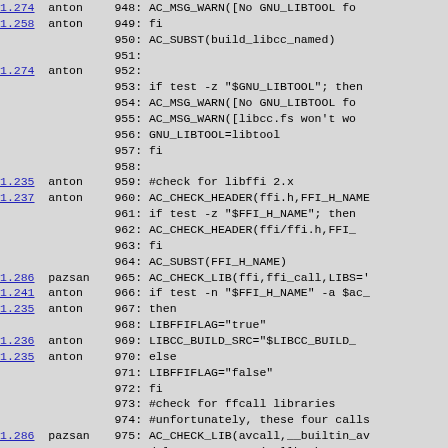| rev | author | code |
| --- | --- | --- |
| 1.274 | anton | 948:    AC_MSG_WARN([No GNU_LIBTOOL fo |
| 1.258 | anton | 949: fi |
|  |  | 950: AC_SUBST(build_libcc_named) |
|  |  | 951: |
| 1.274 | anton | 952: |
|  |  | 953: if test -z "$GNU_LIBTOOL"; then |
|  |  | 954:    AC_MSG_WARN([No GNU_LIBTOOL fo |
|  |  | 955:    AC_MSG_WARN([libcc.fs won't wo |
|  |  | 956:    GNU_LIBTOOL=libtool |
|  |  | 957: fi |
|  |  | 958: |
| 1.235 | anton | 959: #check for libffi 2.x |
| 1.237 | anton | 960: AC_CHECK_HEADER(ffi.h,FFI_H_NAME |
|  |  | 961: if test -z "$FFI_H_NAME"; then |
|  |  | 962:    AC_CHECK_HEADER(ffi/ffi.h,FFI_ |
|  |  | 963: fi |
|  |  | 964: AC_SUBST(FFI_H_NAME) |
| 1.286 | pazsan | 965: AC_CHECK_LIB(ffi,ffi_call,LIBS=' |
| 1.241 | anton | 966: if test -n "$FFI_H_NAME" -a $ac_ |
| 1.235 | anton | 967: then |
|  |  | 968:     LIBFFIFLAG="true" |
| 1.236 | anton | 969:     LIBCC_BUILD_SRC="$LIBCC_BUILD_ |
| 1.235 | anton | 970: else |
|  |  | 971:     LIBFFIFLAG="false" |
|  |  | 972: fi |
|  |  | 973: #check for ffcall libraries |
|  |  | 974: #unfortunately, these four calls |
| 1.286 | pazsan | 975: AC_CHECK_LIB(avcall,__builtin_av |
| 1.234 | pazsan | 976: dnl AC_CHECK_LIB(callback,__vaca |
|  |  | 977: dnl AC_CHECK_LIB(vacall,vacall) |
|  |  | 978: dnl AC_CHECK_LIB(trampoline,callback |